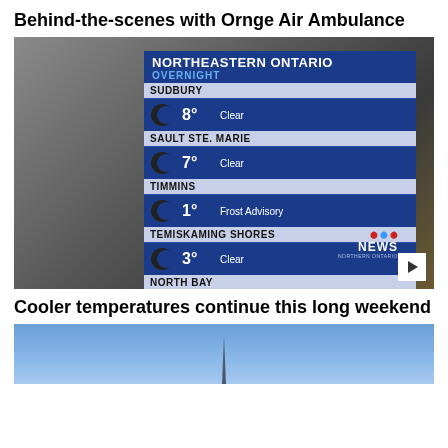Behind-the-scenes with Ornge Air Ambulance
[Figure (screenshot): Weather forecast screen showing Northeastern Ontario overnight temperatures: Sudbury 8° Clear, Sault Ste. Marie 7° Clear, Timmins 1° Frost Advisory, Temiskaming Shores 3° Clear, North Bay 8° Clear. CTV News Northern Ontario logo visible. Stormy sky background on left side.]
Cooler temperatures continue this long weekend
[Figure (photo): Blue sky with a church steeple visible at the bottom center of the frame.]